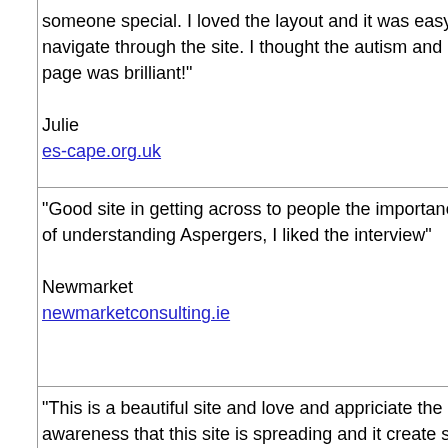someone special. I loved the layout and it was easy to navigate through the site. I thought the autism and art page was brilliant!"

Julie
es-cape.org.uk
"Good site in getting across to people the importance of understanding Aspergers, I liked the interview"

Newmarket
newmarketconsulting.ie
"This is a beautiful site and love and appriciate the awareness that this site is spreading and it create such an outlet for people. Thsi site is inspiring."